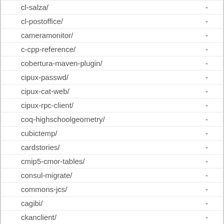cl-salza/ -
cl-postoffice/ -
cameramonitor/ -
c-cpp-reference/ -
cobertura-maven-plugin/ -
cipux-passwd/ -
cipux-cat-web/ -
cipux-rpc-client/ -
coq-highschoolgeometry/ -
cubictemp/ -
cardstories/ -
cmip5-cmor-tables/ -
consul-migrate/ -
commons-jcs/ -
cagibi/ -
ckanclient/ -